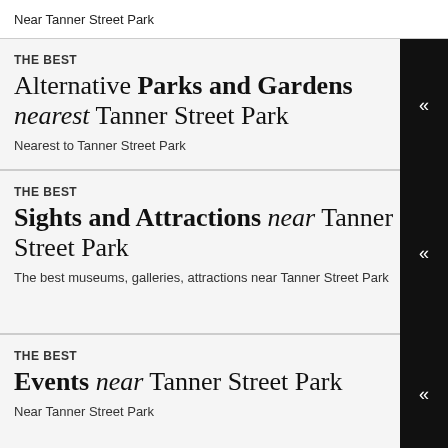Near Tanner Street Park
THE BEST
Alternative Parks and Gardens nearest Tanner Street Park
Nearest to Tanner Street Park
THE BEST
Sights and Attractions near Tanner Street Park
The best museums, galleries, attractions near Tanner Street Park
THE BEST
Events near Tanner Street Park
Near Tanner Street Park